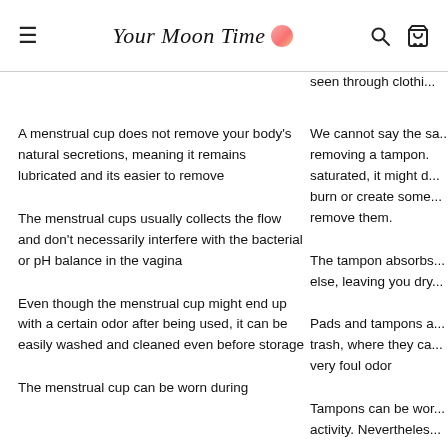Your Moon Time
seen through clothi...
A menstrual cup does not remove your body's natural secretions, meaning it remains lubricated and its easier to remove
We cannot say the sa... removing a tampon. saturated, it might d... burn or create some... remove them.
The menstrual cups usually collects the flow and don't necessarily interfere with the bacterial or pH balance in the vagina
The tampon absorbs... else, leaving you dry...
Even though the menstrual cup might end up with a certain odor after being used, it can be easily washed and cleaned even before storage
Pads and tampons a... trash, where they ca... very foul odor
Tampons can be wor... activity. Nevertheles...
The menstrual cup can be worn during